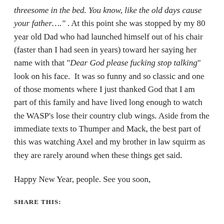threesome in the bed. You know, like the old days cause your father…." . At this point she was stopped by my 80 year old Dad who had launched himself out of his chair (faster than I had seen in years) toward her saying her name with that "Dear God please fucking stop talking" look on his face.  It was so funny and so classic and one of those moments where I just thanked God that I am part of this family and have lived long enough to watch the WASP's lose their country club wings. Aside from the immediate texts to Thumper and Mack, the best part of this was watching Axel and my brother in law squirm as they are rarely around when these things get said.
Happy New Year, people. See you soon,
SHARE THIS: